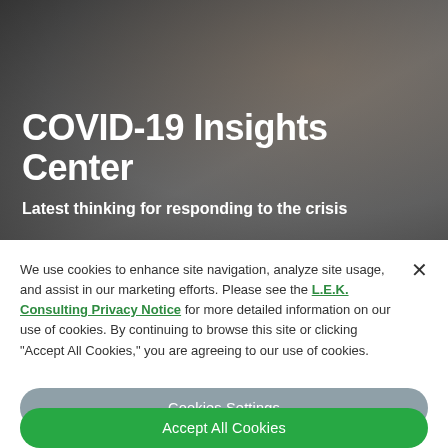[Figure (photo): Hero banner image showing hands with dark background, overlaid with text about COVID-19 Insights Center]
COVID-19 Insights Center
Latest thinking for responding to the crisis
We use cookies to enhance site navigation, analyze site usage, and assist in our marketing efforts. Please see the L.E.K. Consulting Privacy Notice for more detailed information on our use of cookies. By continuing to browse this site or clicking "Accept All Cookies," you are agreeing to our use of cookies.
Cookies Settings
Accept All Cookies